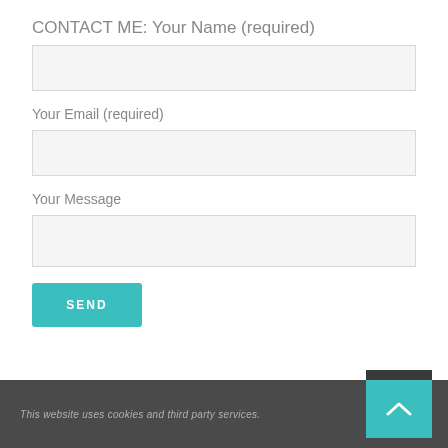CONTACT ME: Your Name (required)
[Figure (other): Empty text input field for name]
Your Email (required)
[Figure (other): Empty text input field for email]
Your Message
[Figure (other): Empty text area for message]
[Figure (other): SEND button in teal color]
This website uses cookies and third party services.